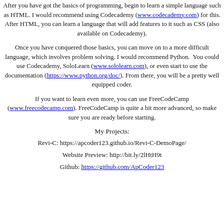After you have got the basics of programming, begin to learn a simple language such as HTML. I would recommend using Codecademy (www.codecademy.com) for this. After HTML, you can learn a language that will add features to it such as CSS (also available on Codecademy).
Once you have conquered those basics, you can move on to a more difficult language, which involves problem solving. I would recommend Python. You could use Codecademy, SoloLearn (www.sololearn.com), or even start to use the documentation (https://www.python.org/doc/). From there, you will be a pretty well equipped coder.
If you want to learn even more, you can use FreeCodeCamp (www.freecodecamp.com). FreeCodeCamp is quite a bit more advanced, so make sure you are ready before starting.
My Projects:
Revi-C: https://apcoder123.github.io/Revi-C-DemoPage/
Website Preview: http://bit.ly/2lHtH9t
Github: https://github.com/ApCoder123